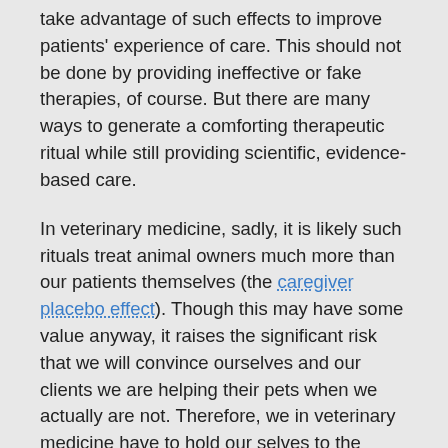take advantage of such effects to improve patients' experience of care. This should not be done by providing ineffective or fake therapies, of course. But there are many ways to generate a comforting therapeutic ritual while still providing scientific, evidence-based care.
In veterinary medicine, sadly, it is likely such rituals treat animal owners much more than our patients themselves (the caregiver placebo effect). Though this may have some value anyway, it raises the significant risk that we will convince ourselves and our clients we are helping their pets when we actually are not. Therefore, we in veterinary medicine have to hold our selves to the strictest standard of evidence we can to avoid fooling ourselves and our clients at the expense of our patients.